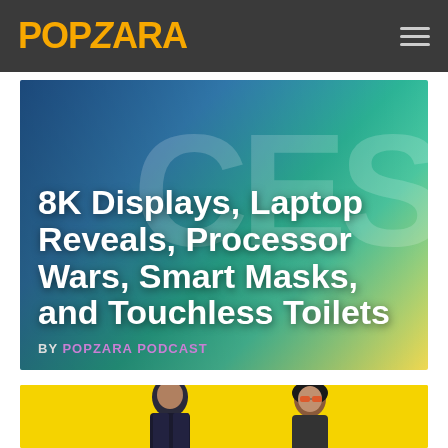POPZARA
[Figure (photo): CES event photo/graphic with blue, teal, and yellow background with large CES watermark text. Article card showing headline text overlaid on the CES background image.]
8K Displays, Laptop Reveals, Processor Wars, Smart Masks, and Touchless Toilets
BY POPZARA PODCAST
[Figure (photo): Bright yellow background with two people - a man in dark jacket on the left and a woman with sunglasses on the right, appearing to be a Cyberpunk-themed image.]